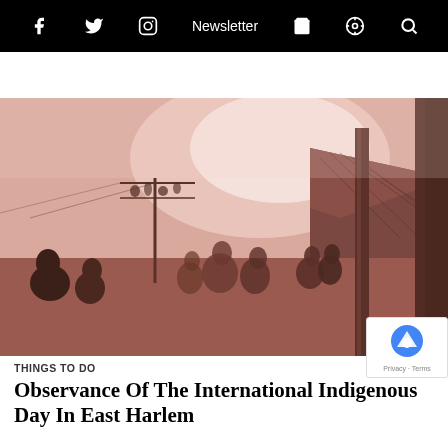f  [twitter]  [instagram]  Newsletter  [cart]  [podcast]  [search]
[Figure (photo): Vintage sepia-toned photograph of an indigenous village scene with thatched huts, a wooden post/pole, and several people gathered in an outdoor setting]
THINGS TO DO
Observance Of The International Indigenous Day In East Harlem